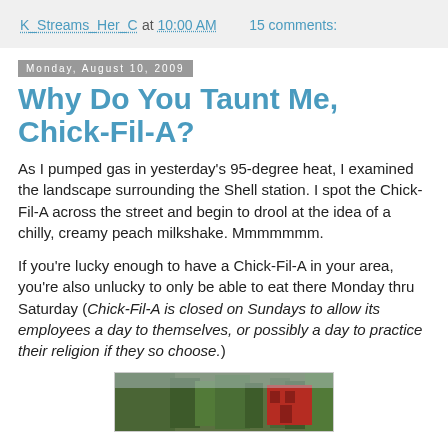K_Streams_Her_C at 10:00 AM    15 comments:
Monday, August 10, 2009
Why Do You Taunt Me, Chick-Fil-A?
As I pumped gas in yesterday's 95-degree heat, I examined the landscape surrounding the Shell station. I spot the Chick-Fil-A across the street and begin to drool at the idea of a chilly, creamy peach milkshake. Mmmmmmm.
If you're lucky enough to have a Chick-Fil-A in your area, you're also unlucky to only be able to eat there Monday thru Saturday (Chick-Fil-A is closed on Sundays to allow its employees a day to themselves, or possibly a day to practice their religion if they so choose.)
[Figure (photo): Photo of Chick-Fil-A restaurant exterior with trees in foreground and red building visible]